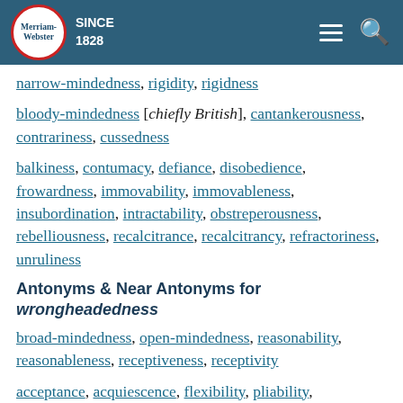Merriam-Webster SINCE 1828
narrow-mindedness, rigidity, rigidness
bloody-mindedness [chiefly British], cantankerousness, contrariness, cussedness
balkiness, contumacy, defiance, disobedience, frowardness, immovability, immovableness, insubordination, intractability, obstreperousness, rebelliousness, recalcitrance, recalcitrancy, refractoriness, unruliness
Antonyms & Near Antonyms for wrongheadedness
broad-mindedness, open-mindedness, reasonability, reasonableness, receptiveness, receptivity
acceptance, acquiescence, flexibility, pliability, pliableness, pliancy, pliantness